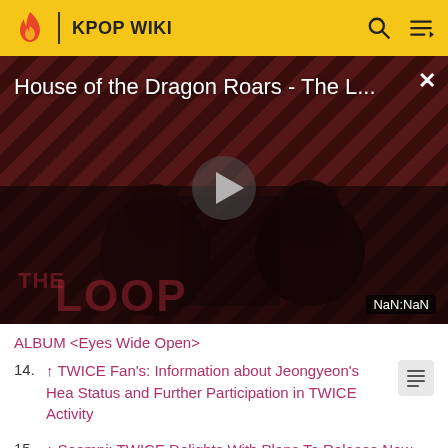KPOP WIKI
[Figure (screenshot): Video player showing 'House of the Dragon Roars - The L...' with a play button, dark diagonal stripe background, silhouetted figures, 'THE LOOP' watermark, and NaN:NaN timestamp. A close (X) button is in the top right.]
ALBUM <Eyes Wide Open>
14. ↑ TWICE Fan's: Information about Jeongyeon's Health Status and Further Participation in TWICE Activity
15. ↑ Soompi: TWICE Delights With Plans To Release New Song, "Cry For Me" After 2020 MAMA Performance